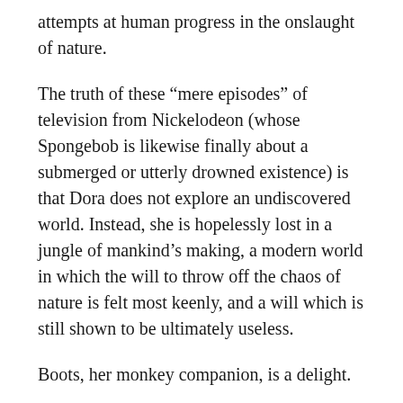attempts at human progress in the onslaught of nature.
The truth of these “mere episodes” of television from Nickelodeon (whose Spongebob is likewise finally about a submerged or utterly drowned existence) is that Dora does not explore an undiscovered world. Instead, she is hopelessly lost in a jungle of mankind’s making, a modern world in which the will to throw off the chaos of nature is felt most keenly, and a will which is still shown to be ultimately useless.
Boots, her monkey companion, is a delight.
But his ultimate use is not as relief from the horrifying onslaught of a child seeking to